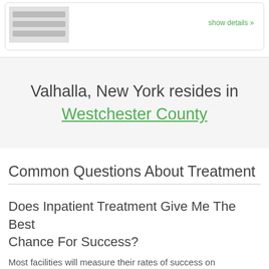[Figure (screenshot): Top card with image placeholder and show details link]
show details »
Valhalla, New York resides in Westchester County
Common Questions About Treatment
Does Inpatient Treatment Give Me The Best Chance For Success?
Most facilities will measure their rates of success on